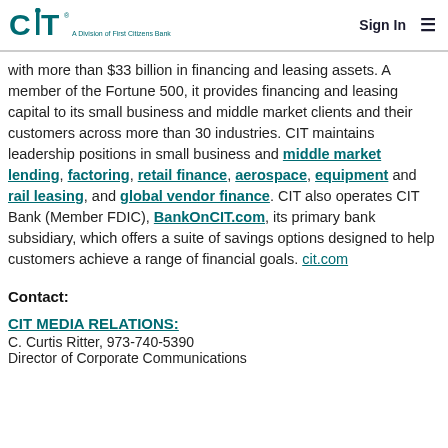CIT · A Division of First Citizens Bank | Sign In
with more than $33 billion in financing and leasing assets. A member of the Fortune 500, it provides financing and leasing capital to its small business and middle market clients and their customers across more than 30 industries. CIT maintains leadership positions in small business and middle market lending, factoring, retail finance, aerospace, equipment and rail leasing, and global vendor finance. CIT also operates CIT Bank (Member FDIC), BankOnCIT.com, its primary bank subsidiary, which offers a suite of savings options designed to help customers achieve a range of financial goals. cit.com
Contact:
CIT MEDIA RELATIONS:
C. Curtis Ritter, 973-740-5390
Director of Corporate Communications